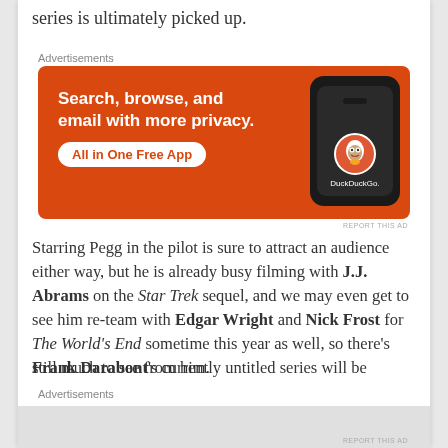series is ultimately picked up.
[Figure (screenshot): DuckDuckGo advertisement banner with orange background. Text reads: Search, browse, and email with more privacy. All in One Free App. Shows a smartphone with DuckDuckGo logo.]
REPORT THIS AD
Starring Pegg in the pilot is sure to attract an audience either way, but he is already busy filming with J.J. Abrams on the Star Trek sequel, and we may even get to see him re-team with Edgar Wright and Nick Frost for The World's End sometime this year as well, so there's still much to see from him.
Frank Darabont's currently untitled series will be
Advertisements
REPORT THIS AD